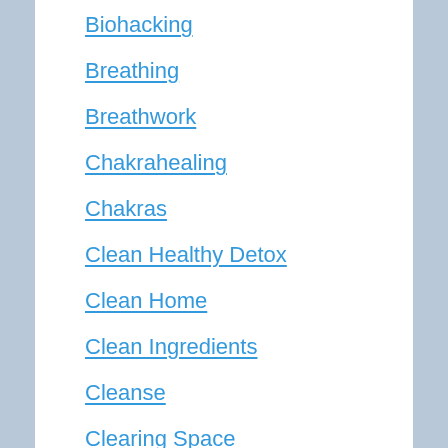Biohacking
Breathing
Breathwork
Chakrahealing
Chakras
Clean Healthy Detox
Clean Home
Clean Ingredients
Cleanse
Clearing Space